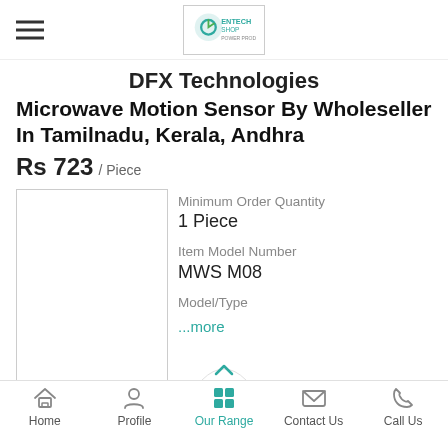[Figure (logo): Entech Shop logo in a bordered box, green and blue circular icon with text]
DFX Technologies
Microwave Motion Sensor By Wholeseller In Tamilnadu, Kerala, Andhra
Rs 723 / Piece
Minimum Order Quantity
1 Piece

Item Model Number
MWS M08

Model/Type
...more